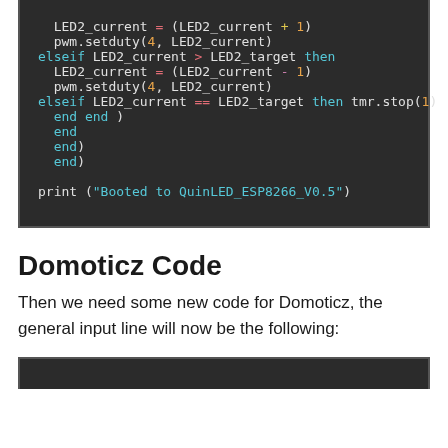[Figure (screenshot): Code block showing Lua/NodeMCU code with syntax highlighting on dark background. Contains LED2_current assignments, pwm.setduty calls, elseif/then/end statements, and print statement.]
Domoticz Code
Then we need some new code for Domoticz, the general input line will now be the following:
[Figure (screenshot): Bottom portion of another dark-background code block, partially visible.]